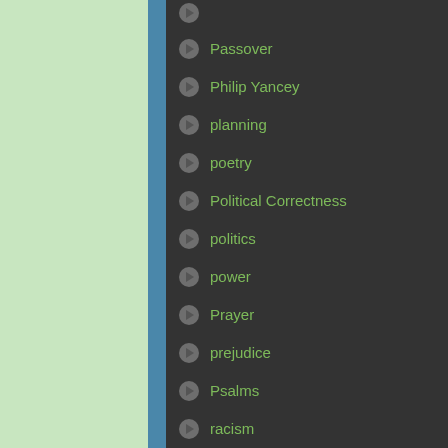Passover
Philip Yancey
planning
poetry
Political Correctness
politics
power
Prayer
prejudice
Psalms
racism
reassurance
repentance
rescue